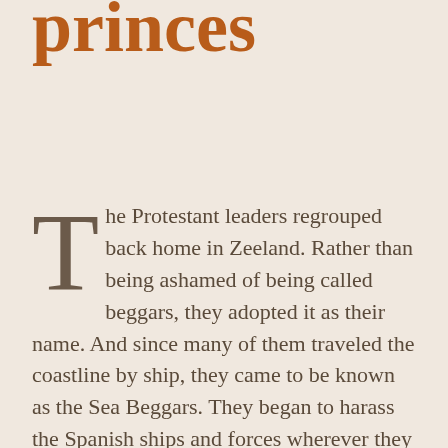princes
The Protestant leaders regrouped back home in Zeeland. Rather than being ashamed of being called beggars, they adopted it as their name. And since many of them traveled the coastline by ship, they came to be known as the Sea Beggars. They began to harass the Spanish ships and forces wherever they found an opportunity, and soon, the commoners joined in. Eventually, they proved to be more than just a nuisance. In 1572, they surprised themselves by retaking the seaside town of Brielle. Less than three weeks later, they repeated their victory in the neighboring town of Vlissingen